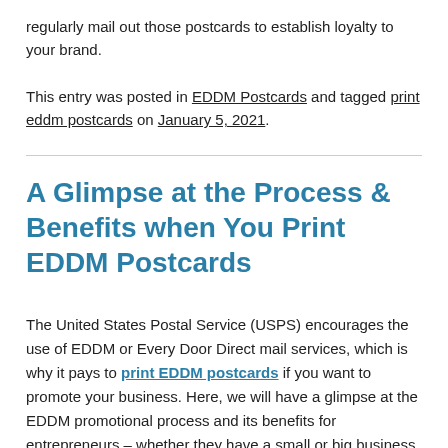regularly mail out those postcards to establish loyalty to your brand.
This entry was posted in EDDM Postcards and tagged print eddm postcards on January 5, 2021.
A Glimpse at the Process & Benefits when You Print EDDM Postcards
The United States Postal Service (USPS) encourages the use of EDDM or Every Door Direct mail services, which is why it pays to print EDDM postcards if you want to promote your business. Here, we will have a glimpse at the EDDM promotional process and its benefits for entrepreneurs – whether they have a small or big business venture.